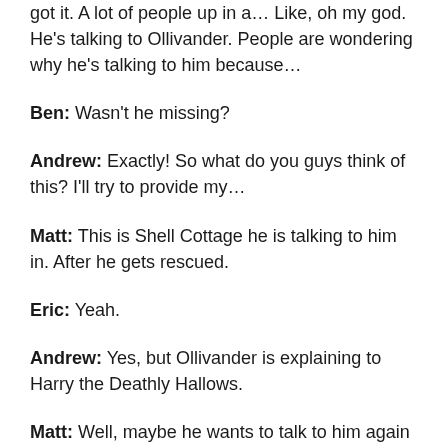got it. A lot of people up in a... Like, oh my god. He's talking to Ollivander. People are wondering why he's talking to him because…
Ben: Wasn't he missing?
Andrew: Exactly! So what do you guys think of this? I'll try to provide my…
Matt: This is Shell Cottage he is talking to him in. After he gets rescued.
Eric: Yeah.
Andrew: Yes, but Ollivander is explaining to Harry the Deathly Hallows.
Matt: Well, maybe he wants to talk to him again about…